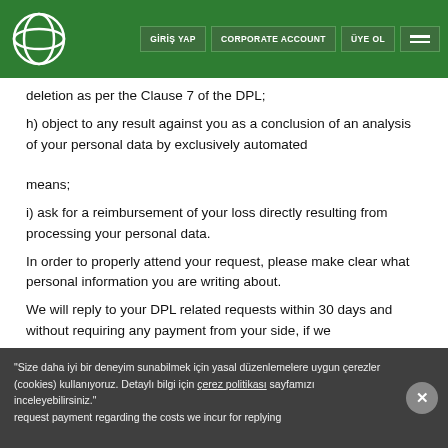GİRİŞ YAP | CORPORATE ACCOUNT | ÜYE OL
deletion as per the Clause 7 of the DPL;
h) object to any result against you as a conclusion of an analysis of your personal data by exclusively automated means;
i) ask for a reimbursement of your loss directly resulting from processing your personal data.
In order to properly attend your request, please make clear what personal information you are writing about.
We will reply to your DPL related requests within 30 days and without requiring any payment from your side, if we request payment regarding the costs we incur for replying
"Size daha iyi bir deneyim sunabilmek için yasal düzenlemelere uygun çerezler (cookies) kullanıyoruz. Detaylı bilgi için çerez politikası sayfamızı inceleyebilirsiniz."